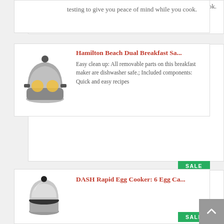testing to give you peace of mind while you cook.
[Figure (photo): Hamilton Beach Dual Breakfast Sandwich maker appliance photo]
Hamilton Beach Dual Breakfast Sa...
Easy clean up: All removable parts on this breakfast maker are dishwasher safe.; Included components: Quick and easy recipes
[Figure (photo): DASH Rapid Egg Cooker appliance photo]
DASH Rapid Egg Cooker: 6 Egg Ca...
[Figure (photo): Presto 03430 Pizzazz Plus Rotating Oven pizza maker photo]
Presto 03430 Pizzazz Plus Rotati...
Rotating tray turns continuously to assure even baking.; Timer signals end of cooking time and automatically turns off heating elements.